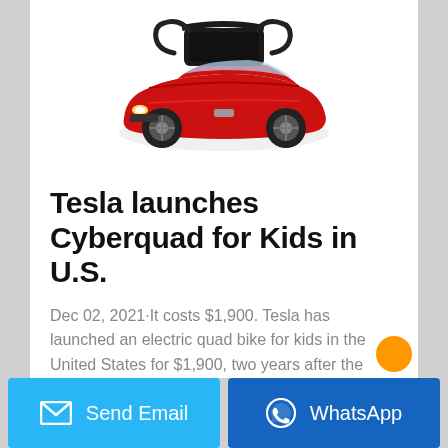[Figure (photo): Red toy electric ride-on car with black seat and handle above it, resembling a sports car for children]
Tesla launches Cyberquad for Kids in U.S.
Dec 02, 2021·It costs $1,900. Tesla has launched an electric quad bike for kids in the United States for $1,900, two years after the electric-car maker ...
Send Email | WhatsApp